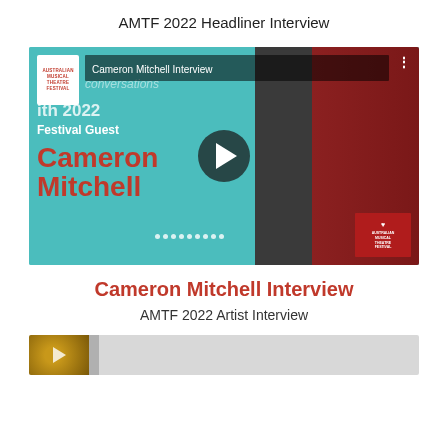AMTF 2022 Headliner Interview
[Figure (screenshot): Video thumbnail for Cameron Mitchell Interview - AMTF 2022 Festival Guest, showing play button overlay on teal/dark background with performer photo]
Cameron Mitchell Interview
AMTF 2022 Artist Interview
[Figure (screenshot): Partial thumbnail of a second video at bottom of page]